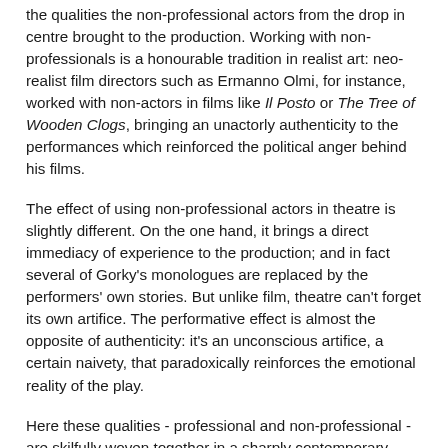the qualities the non-professional actors from the drop in centre brought to the production. Working with non-professionals is a honourable tradition in realist art: neo-realist film directors such as Ermanno Olmi, for instance, worked with non-actors in films like Il Posto or The Tree of Wooden Clogs, bringing an unactorly authenticity to the performances which reinforced the political anger behind his films.
The effect of using non-professional actors in theatre is slightly different. On the one hand, it brings a direct immediacy of experience to the production; and in fact several of Gorky's monologues are replaced by the performers' own stories. But unlike film, theatre can't forget its own artifice. The performative effect is almost the opposite of authenticity: it's an unconscious artifice, a certain naivety, that paradoxically reinforces the emotional reality of the play.
Here these qualities - professional and non-professional - are skilfully woven together in a sharply contemporary work that seems very true to Gorky's bleakly humane vision,